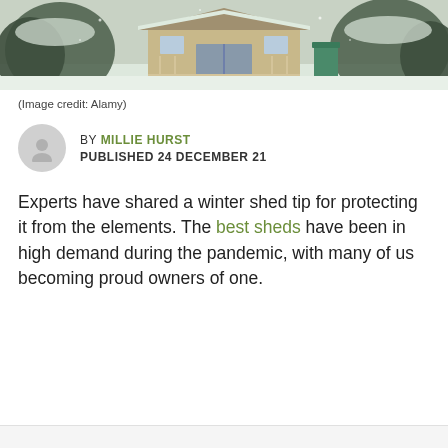[Figure (photo): A wooden shed covered in snow with a porch, railings, and a green bin, surrounded by snow-covered bushes and trees.]
(Image credit: Alamy)
BY MILLIE HURST
PUBLISHED 24 DECEMBER 21
Experts have shared a winter shed tip for protecting it from the elements. The best sheds have been in high demand during the pandemic, with many of us becoming proud owners of one.